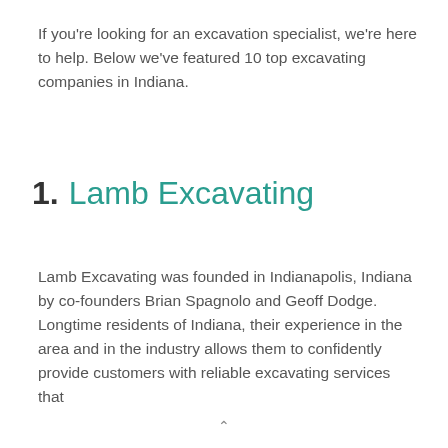If you're looking for an excavation specialist, we're here to help. Below we've featured 10 top excavating companies in Indiana.
1. Lamb Excavating
Lamb Excavating was founded in Indianapolis, Indiana by co-founders Brian Spagnolo and Geoff Dodge. Longtime residents of Indiana, their experience in the area and in the industry allows them to confidently provide customers with reliable excavating services that